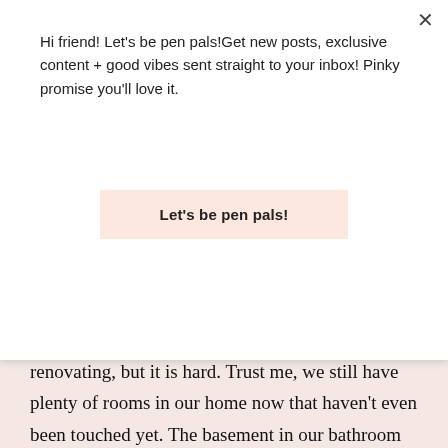Hi friend! Let's be pen pals!Get new posts, exclusive content + good vibes sent straight to your inbox! Pinky promise you'll love it.
Let's be pen pals!
renovating, but it is hard. Trust me, we still have plenty of rooms in our home now that haven't even been touched yet. The basement in our bathroom has blue countertops. It ain't pretty, but we'll get there eventually. Thank you so much for reading and your support, I really appreciate it! xoxo